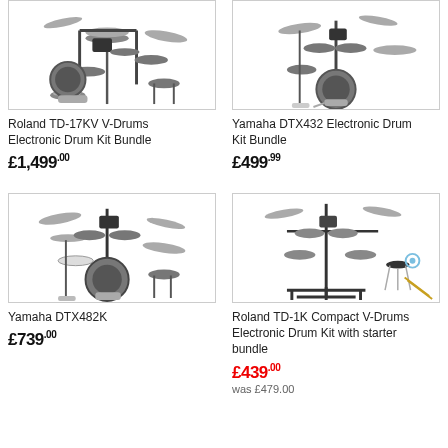[Figure (photo): Roland TD-17KV V-Drums Electronic Drum Kit Bundle product photo]
Roland TD-17KV V-Drums Electronic Drum Kit Bundle
£1,499.00
[Figure (photo): Yamaha DTX432 Electronic Drum Kit Bundle product photo]
Yamaha DTX432 Electronic Drum Kit Bundle
£499.99
[Figure (photo): Yamaha DTX482K electronic drum kit product photo]
Yamaha DTX482K
£739.00
[Figure (photo): Roland TD-1K Compact V-Drums Electronic Drum Kit with starter bundle product photo]
Roland TD-1K Compact V-Drums Electronic Drum Kit with starter bundle
£439.00
was £479.00